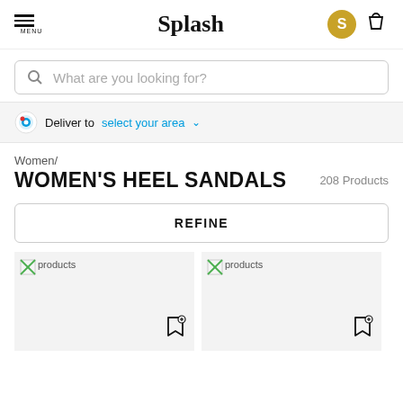Splash — Menu, Logo, User Avatar, Shopping Bag
What are you looking for?
Deliver to select your area
Women/ WOMEN'S HEEL SANDALS
208 Products
REFINE
[Figure (screenshot): Broken product image placeholder with bookmark/wishlist icon]
[Figure (screenshot): Broken product image placeholder with bookmark/wishlist icon]